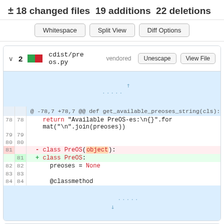± 18 changed files 19 additions 22 deletions
Whitespace | Split View | Diff Options
|  |  | @ -78,7 +78,7 @@ def get_available_preoses_string(cls): |
| 78 | 78 |     return "Available PreOS-es:\n{}".format("\n".join(preoses)) |
| 79 | 79 |  |
| 80 | 80 |  |
| 81 |  |   - class PreOS(object): |
|  | 81 |   + class PreOS: |
| 82 | 82 |       preoses = None |
| 83 | 83 |  |
| 84 | 84 |       @classmethod |
cdist/preos.py vendored
cdist/preos/debootst... vendored